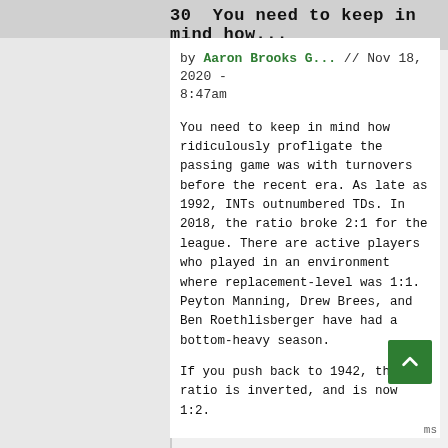30  You need to keep in mind how...
by Aaron Brooks G... // Nov 18, 2020 - 8:47am
You need to keep in mind how ridiculously profligate the passing game was with turnovers before the recent era. As late as 1992, INTs outnumbered TDs. In 2018, the ratio broke 2:1 for the league. There are active players who played in an environment where replacement-level was 1:1. Peyton Manning, Drew Brees, and Ben Roethlisberger have had a bottom-heavy season.
If you push back to 1942, the ratio is inverted, and is now 1:2.